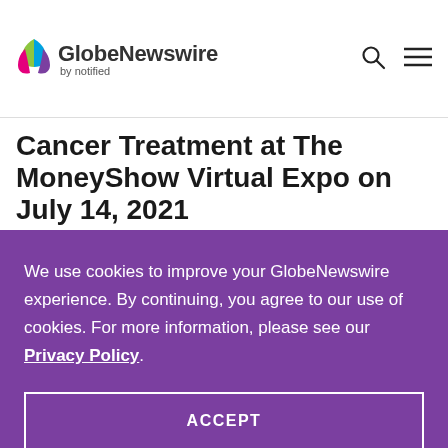GlobeNewswire by notified
Cancer Treatment at The MoneyShow Virtual Expo on July 14, 2021
We use cookies to improve your GlobeNewswire experience. By continuing, you agree to our use of cookies. For more information, please see our Privacy Policy.